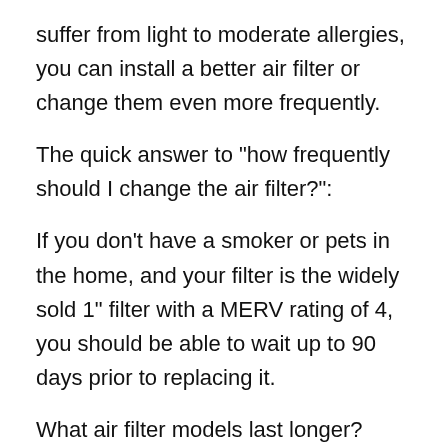suffer from light to moderate allergies, you can install a better air filter or change them even more frequently.
The quick answer to "how frequently should I change the air filter?":
If you don't have a smoker or pets in the home, and your filter is the widely sold 1" filter with a MERV rating of 4, you should be able to wait up to 90 days prior to replacing it.
What air filter models last longer?
Some air filters are manufactured to last up to six months, while others need to be replaced monthly. The denser the air filter, the longer it will